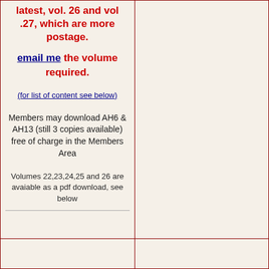latest, vol. 26 and vol .27, which are more postage.
email me the volume required.
(for list of content see below)
Members may download AH6 & AH13 (still 3 copies available) free of charge in the Members Area
Volumes 22,23,24,25 and 26 are avaiable as a pdf download, see below